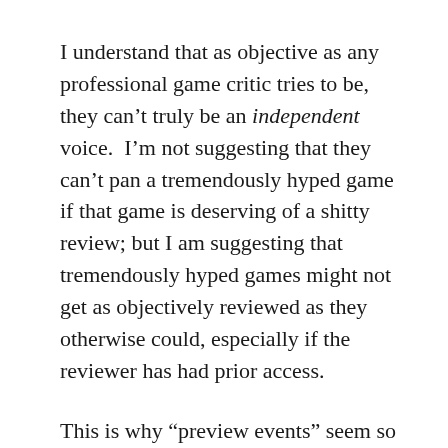I understand that as objective as any professional game critic tries to be, they can't truly be an independent voice.  I'm not suggesting that they can't pan a tremendously hyped game if that game is deserving of a shitty review; but I am suggesting that tremendously hyped games might not get as objectively reviewed as they otherwise could, especially if the reviewer has had prior access.
This is why “preview events” seem so fucked up to me.  I understand why they exist – game companies want consumers to know about their upcoming games, and game outlets need things to write about – but the tremendous leverage that the game companies have over